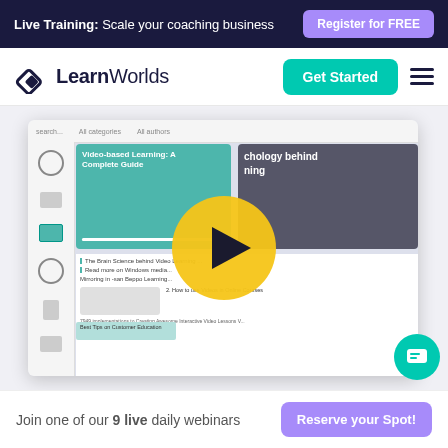Live Training: Scale your coaching business | Register for FREE
[Figure (logo): LearnWorlds logo with diamond icon and wordmark]
[Figure (screenshot): Screenshot of LearnWorlds platform showing course library and blog content, with a large yellow play button overlay in the center]
Join one of our 9 live daily webinars | Reserve your Spot!